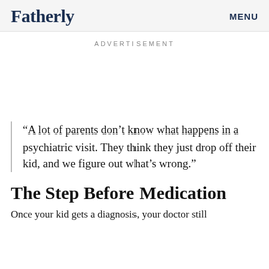Fatherly   MENU
ADVERTISEMENT
“A lot of parents don’t know what happens in a psychiatric visit. They think they just drop off their kid, and we figure out what’s wrong.”
The Step Before Medication
Once your kid gets a diagnosis, your doctor still